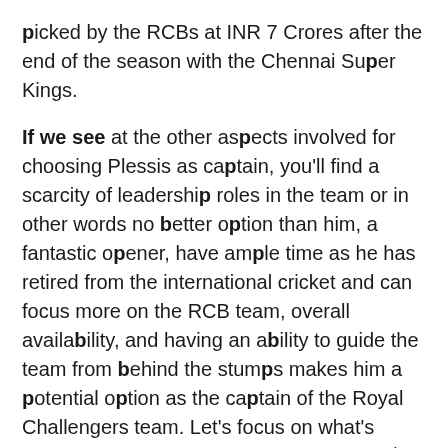picked by the RCBs at INR 7 Crores after the end of the season with the Chennai Super Kings.
If we see at the other aspects involved for choosing Plessis as captain, you'll find a scarcity of leadership roles in the team or in other words no better option than him, a fantastic opener, have ample time as he has retired from the international cricket and can focus more on the RCB team, overall availability, and having an ability to guide the team from behind the stumps makes him a potential option as the captain of the Royal Challengers team. Let's focus on what's going to get unveiled by the RCBs this 12th.
For more updates on the latest cricket trends and other sports, stay on only on cricmazza.com